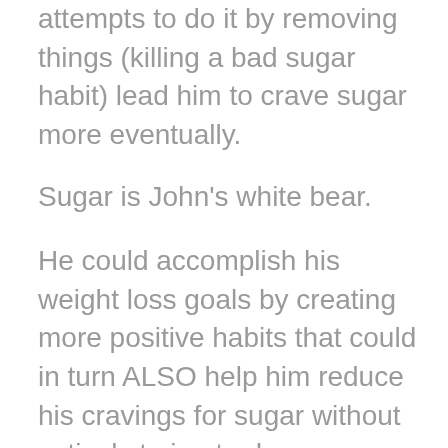attempts to do it by removing things (killing a bad sugar habit) lead him to crave sugar more eventually.
Sugar is John's white bear.
He could accomplish his weight loss goals by creating more positive habits that could in turn ALSO help him reduce his cravings for sugar without actively trying to do so.
Here are three positive habits that John could implement that would help him in a number of ways AND curb his sugar